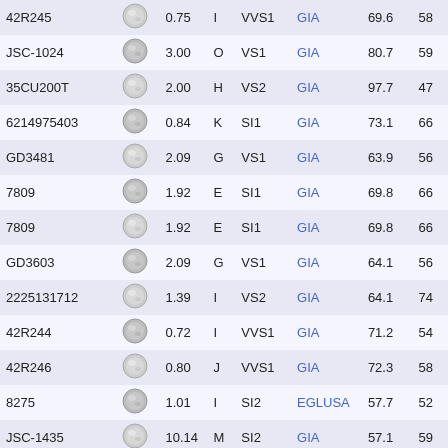| ID | Image | Carat | Color | Clarity | Cert | Val1 | Val2 |
| --- | --- | --- | --- | --- | --- | --- | --- |
| 42R245 |  | 0.75 | I | VVS1 | GIA | 69.6 | 58 |
| JSC-1024 |  | 3.00 | O | VS1 | GIA | 80.7 | 59 |
| 35CU200T |  | 2.00 | H | VS2 | GIA | 97.7 | 47 |
| 6214975403 |  | 0.84 | K | SI1 | GIA | 73.1 | 66 |
| GD3481 |  | 2.09 | G | VS1 | GIA | 63.9 | 56 |
| 7809 |  | 1.92 | E | SI1 | GIA | 69.8 | 66 |
| 7809 |  | 1.92 | E | SI1 | GIA | 69.8 | 66 |
| GD3603 |  | 2.09 | G | VS1 | GIA | 64.1 | 56 |
| 2225131712 |  | 1.39 | I | VS2 | GIA | 64.1 | 74 |
| 42R244 |  | 0.72 | I | VVS1 | GIA | 71.2 | 54 |
| 42R246 |  | 0.80 | J | VVS1 | GIA | 72.3 | 58 |
| 8275 |  | 1.01 | I | SI2 | EGLUSA | 57.7 | 52 |
| JSC-1435 |  | 10.14 | M | SI2 | GIA | 57.1 | 59 |